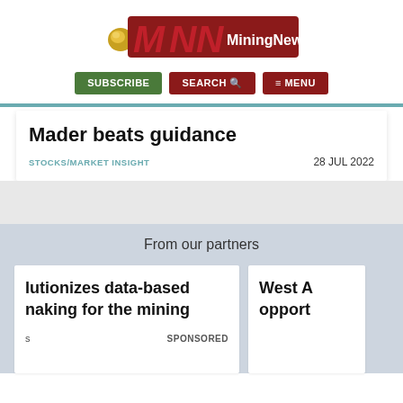[Figure (logo): MiningNews.net logo with stylized MNN letters in dark red and gold nugget icon on left, white text 'MiningNews.net' on dark red background]
SUBSCRIBE  SEARCH  MENU
Mader beats guidance
STOCKS/MARKET INSIGHT   28 JUL 2022
From our partners
lutionizes data-based naking for the mining
s   SPONSORED
West A opport